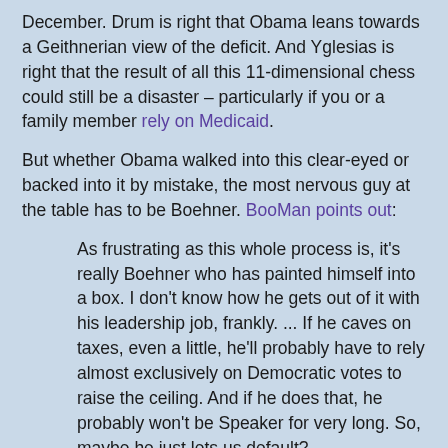December. Drum is right that Obama leans towards a Geithnerian view of the deficit. And Yglesias is right that the result of all this 11-dimensional chess could still be a disaster – particularly if you or a family member rely on Medicaid.
But whether Obama walked into this clear-eyed or backed into it by mistake, the most nervous guy at the table has to be Boehner. BooMan points out:
As frustrating as this whole process is, it's really Boehner who has painted himself into a box. I don't know how he gets out of it with his leadership job, frankly. ... If he caves on taxes, even a little, he'll probably have to rely almost exclusively on Democratic votes to raise the ceiling. And if he does that, he probably won't be Speaker for very long. So, maybe he just lets us default?
Which brings us back to my point: they could all be right, and still Obama has underestimated just how crazy and desperate a position the GOP is in. So things could get a lot worse before they get better. Generally I'm wrong about a lot